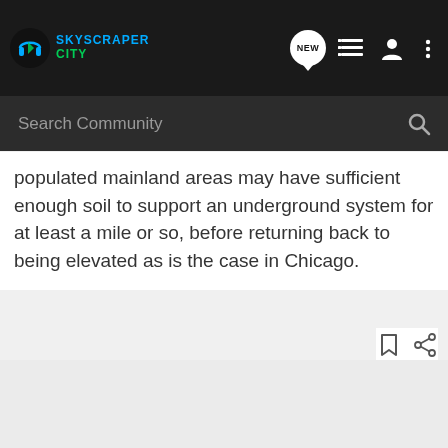[Figure (screenshot): SkyscraperCity website header with logo, NEW button, list icon, user icon, and more options icon on dark background]
[Figure (screenshot): Search Community search bar on dark background]
populated mainland areas may have sufficient enough soil to support an underground system for at least a mile or so, before returning back to being elevated as is the case in Chicago.